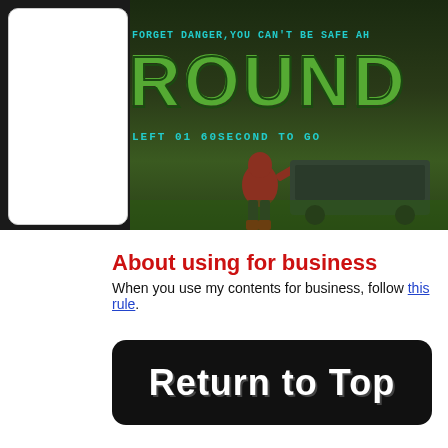[Figure (screenshot): Video game screenshot showing 'FORGET DANGER, YOU CAN'T BE SAFE AH...' text at top in cyan, large green 'ROUND' text in center, and 'LEFT 01 60SECOND TO GO' text below. A fighter character in red armor is visible. White rounded rectangle box on the left side. Dark background with green tones.]
About using for business
When you use my contents for business, follow this rule.
[Figure (illustration): Black rounded rectangle button with white text reading 'Return to Top']